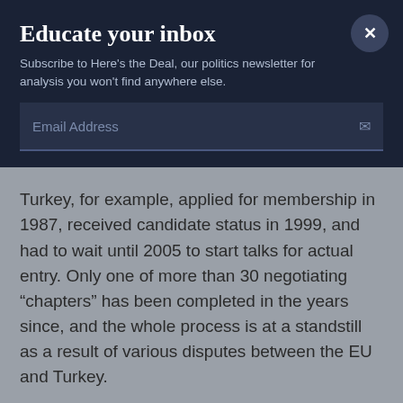Educate your inbox
Subscribe to Here's the Deal, our politics newsletter for analysis you won't find anywhere else.
Email Address
Turkey, for example, applied for membership in 1987, received candidate status in 1999, and had to wait until 2005 to start talks for actual entry. Only one of more than 30 negotiating “chapters” has been completed in the years since, and the whole process is at a standstill as a result of various disputes between the EU and Turkey.
Similarly, several Balkan countries have been